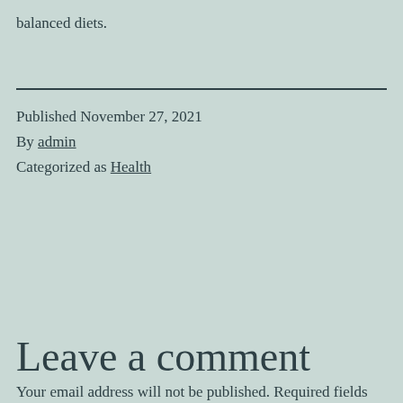balanced diets.
Published November 27, 2021
By admin
Categorized as Health
Leave a comment
Your email address will not be published. Required fields